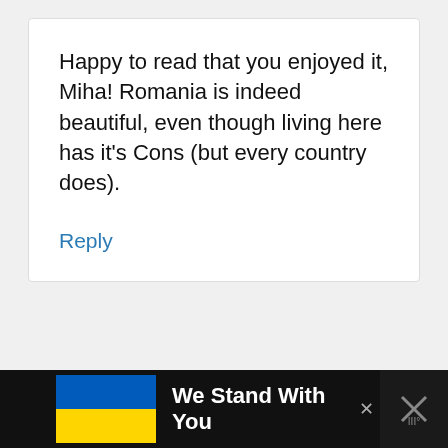Happy to read that you enjoyed it, Miha! Romania is indeed beautiful, even though living here has it’s Cons (but every country does).
Reply
Mia
July 9, 2021 at 12:11 am
We Stand With You